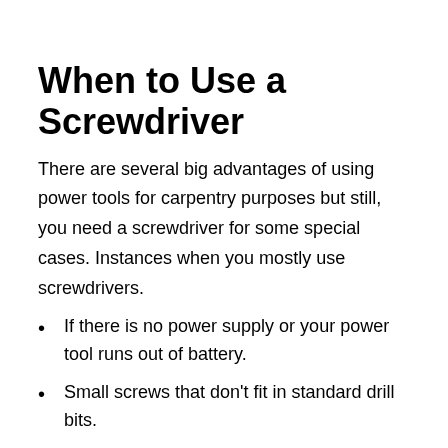When to Use a Screwdriver
There are several big advantages of using power tools for carpentry purposes but still, you need a screwdriver for some special cases. Instances when you mostly use screwdrivers.
If there is no power supply or your power tool runs out of battery.
Small screws that don't fit in standard drill bits.
Whenever you don't have proper safety gear for using the power tool.